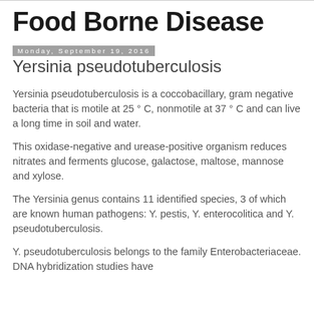Food Borne Disease
Monday, September 19, 2016
Yersinia pseudotuberculosis
Yersinia pseudotuberculosis is a coccobacillary, gram negative bacteria that is motile at 25 ° C, nonmotile at 37 ° C and can live a long time in soil and water.
This oxidase-negative and urease-positive organism reduces nitrates and ferments glucose, galactose, maltose, mannose and xylose.
The Yersinia genus contains 11 identified species, 3 of which are known human pathogens: Y. pestis, Y. enterocolitica and Y. pseudotuberculosis.
Y. pseudotuberculosis belongs to the family Enterobacteriaceae. DNA hybridization studies have